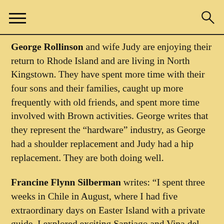George Rollinson and wife Judy are enjoying their return to Rhode Island and are living in North Kingstown. They have spent more time with their four sons and their families, caught up more frequently with old friends, and spent more time involved with Brown activities. George writes that they represent the “hardware” industry, as George had a shoulder replacement and Judy had a hip replacement. They are both doing well.
Francine Flynn Silberman writes: “I spent three weeks in Chile in August, where I had five extraordinary days on Easter Island with a private guide. I explored exciting Santiago and Vina del Mar. I visited eight wine